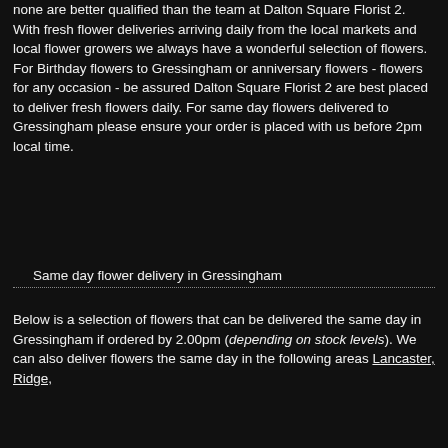none are better qualified than the team at Dalton Square Florist 2. With fresh flower deliveries arriving daily from the local markets and local flower growers we always have a wonderful selection of flowers. For Birthday flowers to Gressingham or anniversary flowers - flowers for any occasion - be assured Dalton Square Florist 2 are best placed to deliver fresh flowers daily. For same day flowers delivered to Gressingham please ensure your order is placed with us before 2pm local time.
Same day flower delivery in Gressingham
Below is a selection of flowers that can be delivered the same day in Gressingham if ordered by 2.00pm (depending on stock levels). We can also deliver flowers the same day in the following areas Lancaster, Ridge,